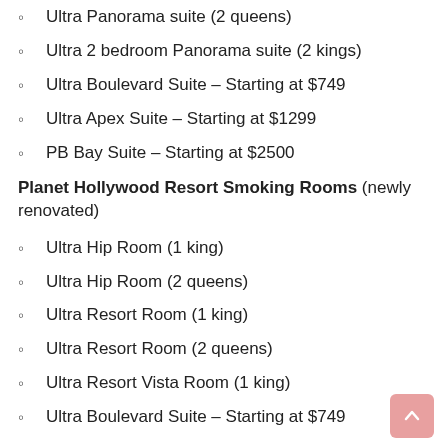Ultra Panorama suite (2 queens)
Ultra 2 bedroom Panorama suite (2 kings)
Ultra Boulevard Suite – Starting at $749
Ultra Apex Suite – Starting at $1299
PB Bay Suite – Starting at $2500
Planet Hollywood Resort Smoking Rooms (newly renovated)
Ultra Hip Room (1 king)
Ultra Hip Room (2 queens)
Ultra Resort Room (1 king)
Ultra Resort Room (2 queens)
Ultra Resort Vista Room (1 king)
Ultra Boulevard Suite – Starting at $749